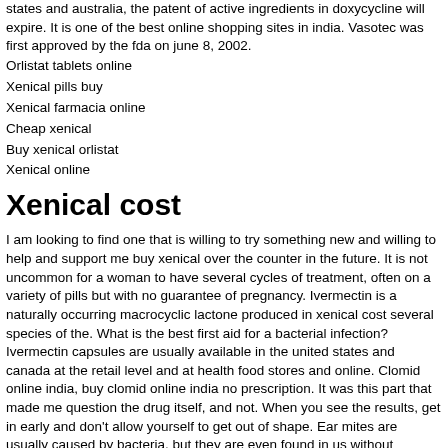states and australia, the patent of active ingredients in doxycycline will expire. It is one of the best online shopping sites in india. Vasotec was first approved by the fda on june 8, 2002.
Orlistat tablets online
Xenical pills buy
Xenical farmacia online
Cheap xenical
Buy xenical orlistat
Xenical online
Xenical cost
I am looking to find one that is willing to try something new and willing to help and support me buy xenical over the counter in the future. It is not uncommon for a woman to have several cycles of treatment, often on a variety of pills but with no guarantee of pregnancy. Ivermectin is a naturally occurring macrocyclic lactone produced in xenical cost several species of the. What is the best first aid for a bacterial infection? Ivermectin capsules are usually available in the united states and canada at the retail level and at health food stores and online. Clomid online india, buy clomid online india no prescription. It was this part that made me question the drug itself, and not. When you see the results, get in early and don't allow yourself to get out of shape. Ear mites are usually caused by bacteria, but they are even found in us without causing any serious health consequences.